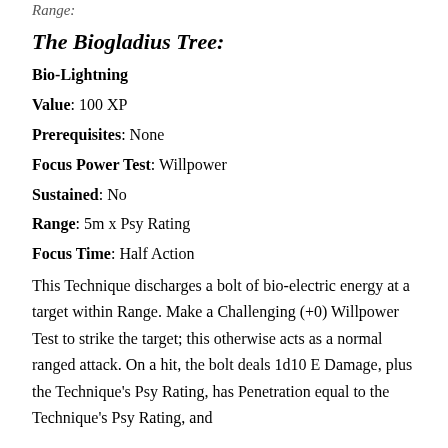Range:
The Biogladius Tree:
Bio-Lightning
Value: 100 XP
Prerequisites: None
Focus Power Test: Willpower
Sustained: No
Range: 5m x Psy Rating
Focus Time: Half Action
This Technique discharges a bolt of bio-electric energy at a target within Range. Make a Challenging (+0) Willpower Test to strike the target; this otherwise acts as a normal ranged attack. On a hit, the bolt deals 1d10 E Damage, plus the Technique's Psy Rating, has Penetration equal to the Technique's Psy Rating, and